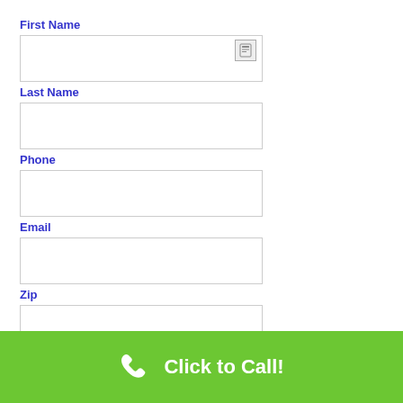First Name
[Figure (screenshot): Text input field for First Name with a small icon in top-right corner]
Last Name
[Figure (screenshot): Text input field for Last Name]
Phone
[Figure (screenshot): Text input field for Phone]
Email
[Figure (screenshot): Text input field for Email]
Zip
[Figure (screenshot): Text input field for Zip]
How Can We Help?
Click to Call!